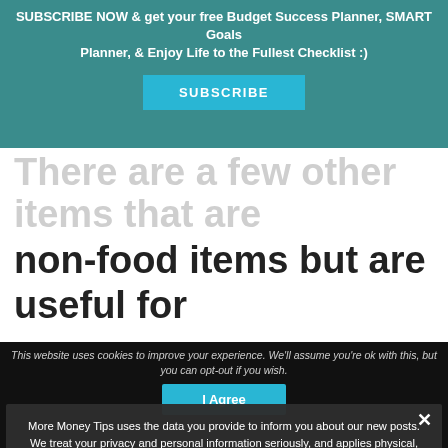SUBSCRIBE NOW & get your free Budget Success Planner, SMART Goals Planner, & Enjoy Life to the Fullest Checklist :)
SUBSCRIBE
There are a few other items that are non-food items but are useful for everyday purposes.
#29 General household supplies like laundry detergent, dish...
More Money Tips uses the data you provide to inform you about our new posts. We treat your privacy and personal information seriously, and applies physical, electronic and technical management procedures to keep your information secure. We will never trade, sell our users' information.
Privacy Preferences
This website uses cookies to improve your experience. We'll assume you're ok with this, but you can opt-out if you wish.
I Agree